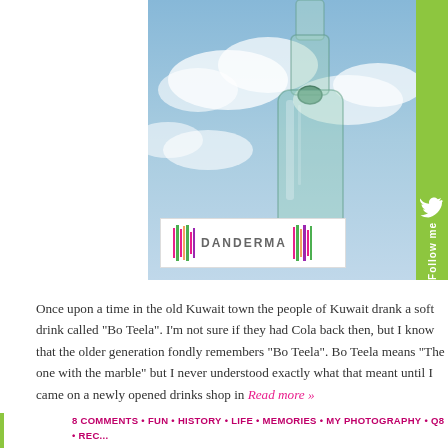[Figure (photo): Close-up photo of a glass bottle with a marble stopper against a blue cloudy sky background, with a Danderma blog logo overlay in the lower left]
Once upon a time in the old Kuwait town the people of Kuwait drank a soft drink called "Bo Teela". I'm not sure if they had Cola back then, but I know that the older generation fondly remembers "Bo Teela". Bo Teela means "The one with the marble" but I never understood exactly what that meant until I came on a newly opened drinks shop in Read more »
8 COMMENTS • FUN • HISTORY • LIFE • MEMORIES • MY PHOTOGRAPHY • Q8 • REVIEWS • SHOPPING • THINGS I LIKE